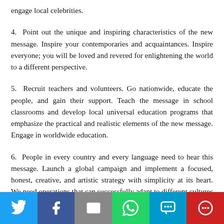engage local celebrities.
4. Point out the unique and inspiring characteristics of the new message. Inspire your contemporaries and acquaintances. Inspire everyone; you will be loved and revered for enlightening the world to a different perspective.
5. Recruit teachers and volunteers. Go nationwide, educate the people, and gain their support. Teach the message in school classrooms and develop local universal education programs that emphasize the practical and realistic elements of the new message. Engage in worldwide education.
6. People in every country and every language need to hear this message. Launch a global campaign and implement a focused, honest, creative, and artistic strategy with simplicity at its heart. We need operations that can successfully adapt to different cultures and interact with groups around the globe to direct them toward a new path for peace.
7. Advocate for world peace to stop violence against children because children are the most vulnerable victims. The new message saves lives by